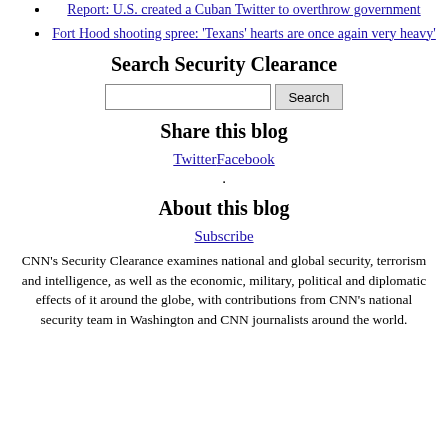Report: U.S. created a Cuban Twitter to overthrow government
Fort Hood shooting spree: 'Texans' hearts are once again very heavy'
Search Security Clearance
Share this blog
TwitterFacebook
.
About this blog
Subscribe
CNN's Security Clearance examines national and global security, terrorism and intelligence, as well as the economic, military, political and diplomatic effects of it around the globe, with contributions from CNN's national security team in Washington and CNN journalists around the world.